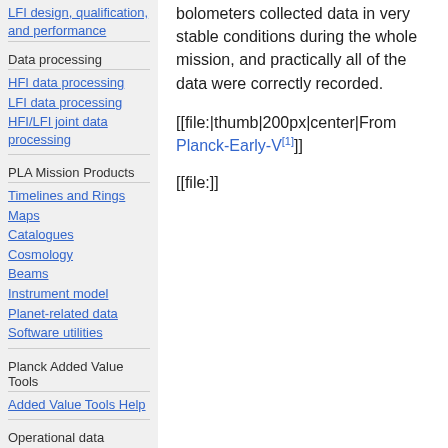LFI design, qualification, and performance
Data processing
HFI data processing
LFI data processing
HFI/LFI joint data processing
PLA Mission Products
Timelines and Rings
Maps
Catalogues
Cosmology
Beams
Instrument model
Planet-related data
Software utilities
Planck Added Value Tools
Added Value Tools Help
Operational data
bolometers collected data in very stable conditions during the whole mission, and practically all of the data were correctly recorded.
[[file:|thumb|200px|center|From Planck-Early-V[1]]]
[[file:]]